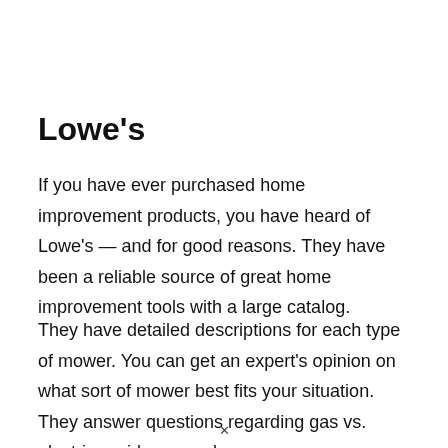Lowe's
If you have ever purchased home improvement products, you have heard of Lowe's — and for good reasons. They have been a reliable source of great home improvement tools with a large catalog.
They have detailed descriptions for each type of mower. You can get an expert's opinion on what sort of mower best fits your situation. They answer questions regarding gas vs. electric or ride vs. push,